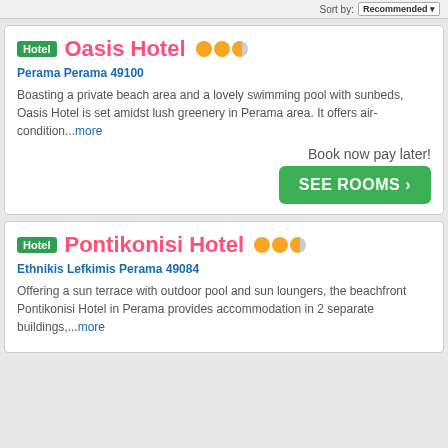Sort by: Recommended
Hotel | Oasis Hotel ●●●◐ | Perama Perama 49100 | Boasting a private beach area and a lovely swimming pool with sunbeds, Oasis Hotel is set amidst lush greenery in Perama area. It offers air-condition...more | Book now pay later! | SEE ROOMS ›
Hotel | Pontikonisi Hotel ●●●◐ | Ethnikis Lefkimis Perama 49084 | Offering a sun terrace with outdoor pool and sun loungers, the beachfront Pontikonisi Hotel in Perama provides accommodation in 2 separate buildings,...more